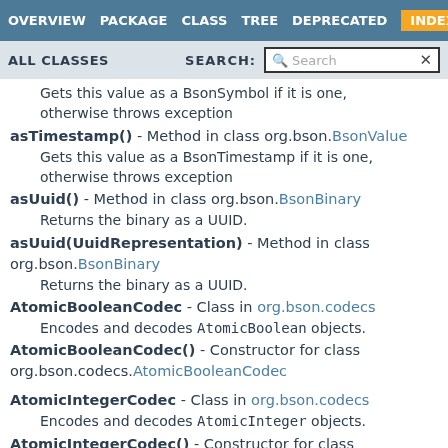OVERVIEW  PACKAGE  CLASS  TREE  DEPRECATED  INDEX
ALL CLASSES   SEARCH: [Search]
Gets this value as a BsonSymbol if it is one, otherwise throws exception
asTimestamp() - Method in class org.bson.BsonValue
Gets this value as a BsonTimestamp if it is one, otherwise throws exception
asUuid() - Method in class org.bson.BsonBinary
Returns the binary as a UUID.
asUuid(UuidRepresentation) - Method in class org.bson.BsonBinary
Returns the binary as a UUID.
AtomicBooleanCodec - Class in org.bson.codecs
Encodes and decodes AtomicBoolean objects.
AtomicBooleanCodec() - Constructor for class org.bson.codecs.AtomicBooleanCodec
AtomicIntegerCodec - Class in org.bson.codecs
Encodes and decodes AtomicInteger objects.
AtomicIntegerCodec() - Constructor for class org.bson.codecs.AtomicIntegerCodec
AtomicLongCodec - Class in org.bson.codecs